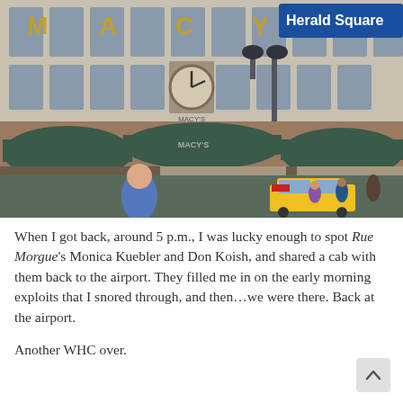[Figure (photo): Street-level photograph of Macy's department store at Herald Square, New York City. The large classical building facade shows the letters M, A, C, Y, S in gold. A blue 'Herald Square' sign is visible in the upper right corner. A large clock is mounted on the building exterior. Street lamps, dark green awnings over the entrance, a yellow taxi cab, and pedestrians on the sidewalk are visible in the foreground.]
When I got back, around 5 p.m., I was lucky enough to spot Rue Morgue's Monica Kuebler and Don Koish, and shared a cab with them back to the airport. They filled me in on the early morning exploits that I snored through, and then…we were there. Back at the airport.
Another WHC over.